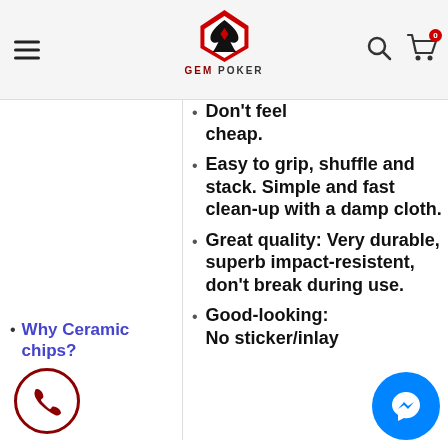GEM POKER
Don't feel cheap.
Easy to grip, shuffle and stack. Simple and fast clean-up with a damp cloth.
Great quality: Very durable, superb impact-resistent, don't break during use.
Good-looking: No sticker/inlay
Why Ceramic chips?